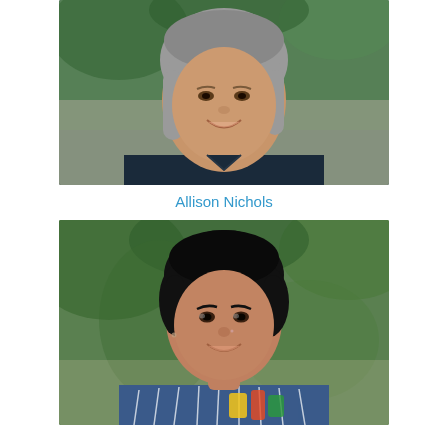[Figure (photo): Headshot photo of Allison Nichols, a woman with shoulder-length gray hair, smiling, wearing a dark navy blue top, photographed outdoors with blurred green background.]
Allison Nichols
[Figure (photo): Headshot photo of a woman with short dark black hair, smiling, wearing a blue striped top with colorful pattern, photographed outdoors with blurred green background.]